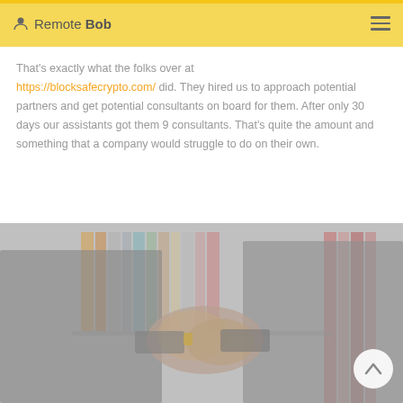Remote Bob
That’s exactly what the folks over at https://blocksafecrypto.com/ did. They hired us to approach potential partners and get potential consultants on board for them. After only 30 days our assistants got them 9 consultants. That’s quite the amount and something that a company would struggle to do on their own.
[Figure (photo): Two businesspeople shaking hands in front of a bookshelf with colorful binders, image appears faded/desaturated]